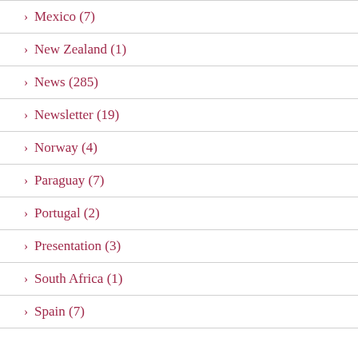> Mexico (7)
> New Zealand (1)
> News (285)
> Newsletter (19)
> Norway (4)
> Paraguay (7)
> Portugal (2)
> Presentation (3)
> South Africa (1)
> Spain (7)